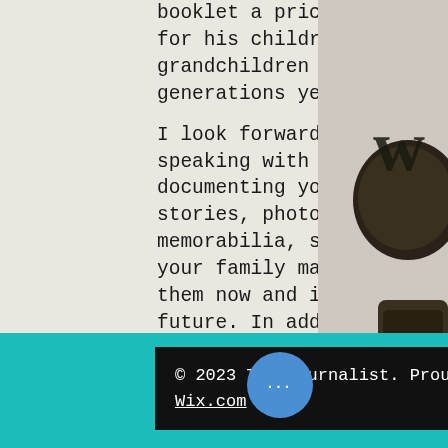booklet a priceless gift for his children, grandchildren and generations yet to come.
I look forward to speaking with you about documenting your stories, photos and memorabilia, so you and your family may enjoy them now and in the future. In addition, I am happy to provide professional writing, editing and transcribing services for all your documentation needs.
Member of Lifestory Professionals of the Greater Washington Area; ACES: The Society for Editing
[Figure (photo): Partial view of a vintage typewriter, showing dark metallic keys on the right side of the image]
© 2023 The Journalist. Proudly created with Wix.com